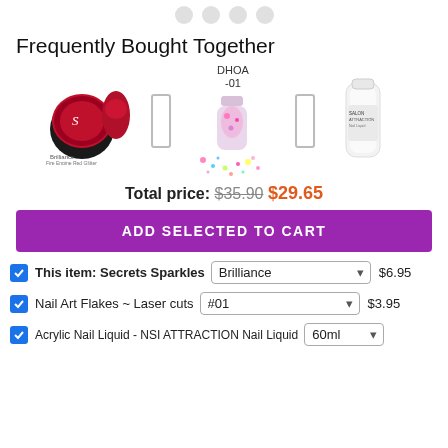[Figure (other): Navigation dots row at the top]
Frequently Bought Together
[Figure (other): Three product images with plus separators: Secrets Sparkles Brilliance (red glitter nail product), Nail Art Flakes DHOA-01 (pink glitter flakes bottle), Acrylic Nail Liquid (white bottle)]
Total price: $35.90 $29.65
ADD SELECTED TO CART
This item: Secrets Sparkles [Brilliance dropdown] $6.95
Nail Art Flakes ~ Laser cuts [#01 dropdown] $3.95
Acrylic Nail Liquid - NSI ATTRACTION Nail Liquid [60ml dropdown]